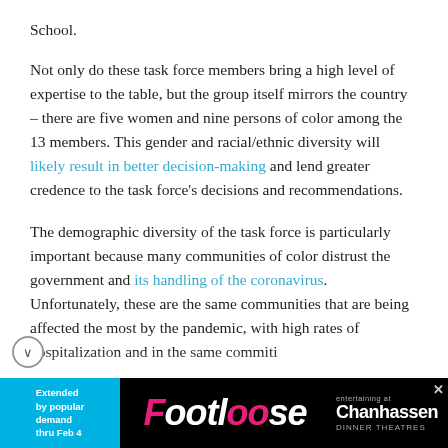School.
Not only do these task force members bring a high level of expertise to the table, but the group itself mirrors the country – there are five women and nine persons of color among the 13 members. This gender and racial/ethnic diversity will likely result in better decision-making and lend greater credence to the task force's decisions and recommendations.
The demographic diversity of the task force is particularly important because many communities of color distrust the government and its handling of the coronavirus. Unfortunately, these are the same communities that are being affected the most by the pandemic, with high rates of hospitalization and in some communities...
[Figure (other): Advertisement banner for Footloose at Chanhassen Dinner Theatres. Extended by popular demand thru Feb 4. Black background with cyan left panel and pink/white logo text.]